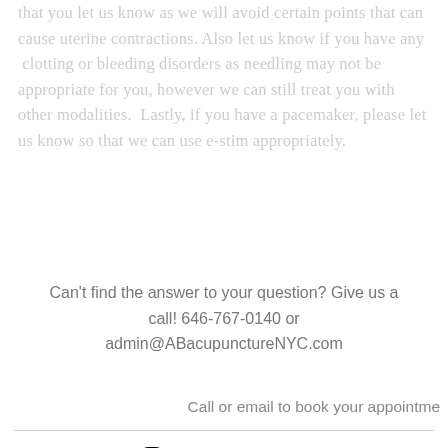that you let us know as we will avoid certain points that can cause uterine contractions. Also let us know if you have any clotting or bleeding disorders as needling may not be appropriate for you, however we can still treat you with other modalities. Lastly, if you have a pacemaker, please let us know so that we can use e-stim appropriately.
Can't find the answer to your question? Give us a call! 646-767-0140 or admin@ABacupunctureNYC.com
Call or email to book your appointme
[Figure (infographic): Social media icons row: Instagram, LinkedIn, Facebook, and a link/chain icon, all in black on white background]
[Figure (infographic): Bottom bar with Phone button (green phone icon) and Email button (pink/magenta envelope icon)]